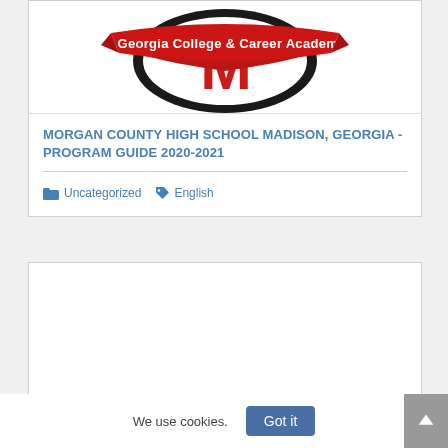[Figure (logo): Morgan County High School logo with red banner reading 'A Georgia College & Career Academy' and a large red M on a shield]
MORGAN COUNTY HIGH SCHOOL MADISON, GEORGIA - PROGRAM GUIDE 2020-2021
Uncategorized  English
[Figure (other): Empty white content card area]
We use cookies.
Got it